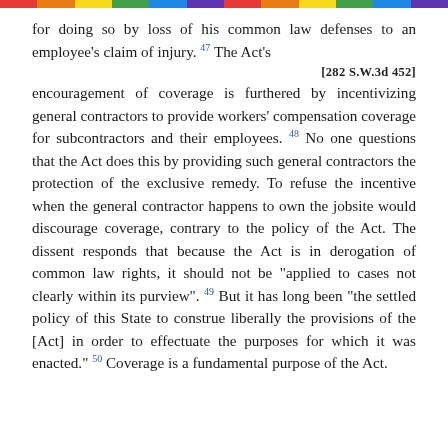for doing so by loss of his common law defenses to an employee's claim of injury. 47 The Act's
[282 S.W.3d 452]
encouragement of coverage is furthered by incentivizing general contractors to provide workers' compensation coverage for subcontractors and their employees. 48 No one questions that the Act does this by providing such general contractors the protection of the exclusive remedy. To refuse the incentive when the general contractor happens to own the jobsite would discourage coverage, contrary to the policy of the Act. The dissent responds that because the Act is in derogation of common law rights, it should not be "applied to cases not clearly within its purview". 49 But it has long been "the settled policy of this State to construe liberally the provisions of the [Act] in order to effectuate the purposes for which it was enacted." 50 Coverage is a fundamental purpose of the Act.